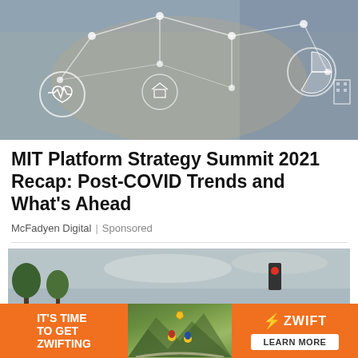[Figure (photo): Technology/healthcare network concept image with blurred people in background and white network/icon overlay graphics including heart monitor, home, and pie chart icons connected by lines]
MIT Platform Strategy Summit 2021 Recap: Post-COVID Trends and What’s Ahead
McFadyen Digital | Sponsored
[Figure (photo): Street scene with police line do not cross tape in blue letters on white barrier across a road, with trees and traffic lights in background]
[Figure (infographic): Advertisement banner: IT'S TIME TO GET ZWIFTING with Zwift logo and LEARN MORE button on orange background, with cycling image in center]